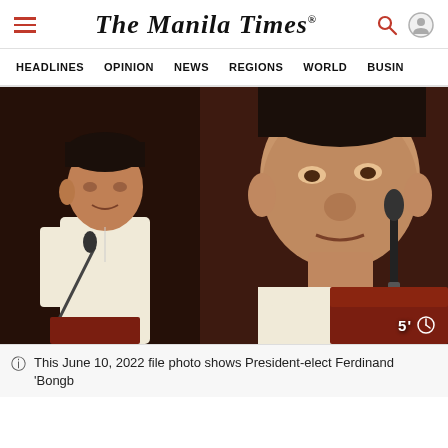The Manila Times
HEADLINES  OPINION  NEWS  REGIONS  WORLD  BUSIN
[Figure (photo): A man speaking at a podium with a large screen projection behind him showing a close-up of the same person's face. The speaker is wearing a white barong tagalog. Timer overlay shows 5' in bottom right corner.]
This June 10, 2022 file photo shows President-elect Ferdinand 'Bongb